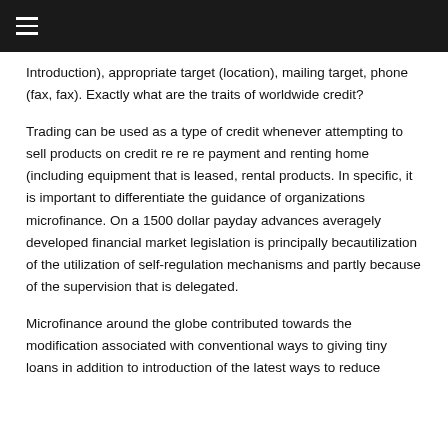Introduction), appropriate target (location), mailing target, phone (fax, fax). Exactly what are the traits of worldwide credit?
Trading can be used as a type of credit whenever attempting to sell products on credit re re re payment and renting home (including equipment that is leased, rental products. In specific, it is important to differentiate the guidance of organizations microfinance. On a 1500 dollar payday advances averagely developed financial market legislation is principally becautilization of the utilization of self-regulation mechanisms and partly because of the supervision that is delegated.
Microfinance around the globe contributed towards the modification associated with conventional ways to giving tiny loans in addition to introduction of the latest ways to reduce